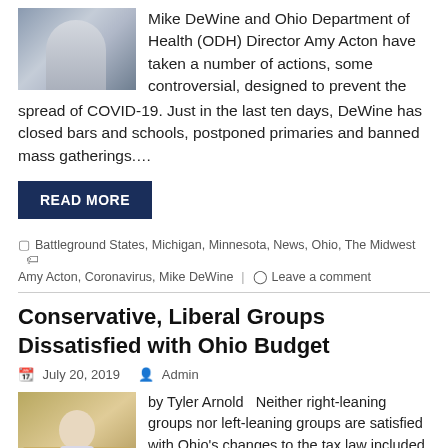Mike DeWine and Ohio Department of Health (ODH) Director Amy Acton have taken a number of actions, some controversial, designed to prevent the spread of COVID-19. Just in the last ten days, DeWine has closed bars and schools, postponed primaries and banned mass gatherings.…
READ MORE
Battleground States, Michigan, Minnesota, News, Ohio, The Midwest  Amy Acton, Coronavirus, Mike DeWine  |  Leave a comment
Conservative, Liberal Groups Dissatisfied with Ohio Budget
July 20, 2019   Admin
by Tyler Arnold   Neither right-leaning groups nor left-leaning groups are satisfied with Ohio's changes to the tax law included in the two-year